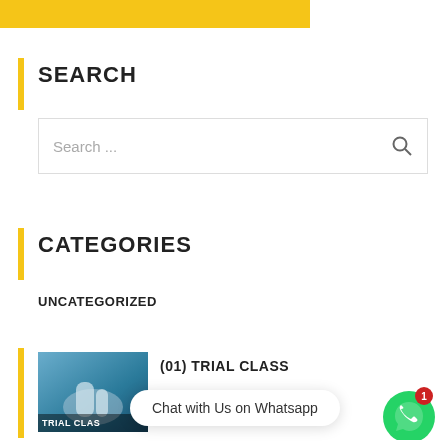[Figure (screenshot): Yellow/gold top banner bar]
SEARCH
[Figure (screenshot): Search input box with placeholder text 'Search ...' and magnifying glass icon]
CATEGORIES
UNCATEGORIZED
[Figure (photo): Trial class thumbnail image showing hands with text TRIAL CLASS overlay]
(01) TRIAL CLASS
Chat with Us on Whatsapp
[Figure (illustration): WhatsApp green circular button with notification badge showing 1]